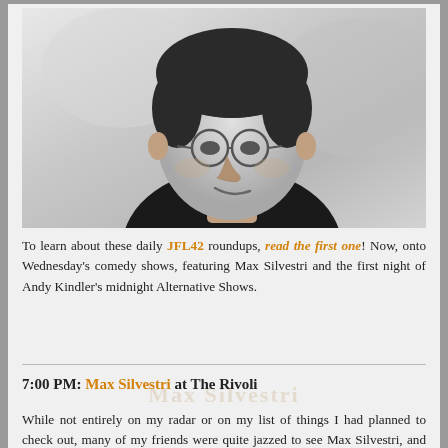[Figure (photo): Black and white headshot photo of a man with dark hair, glasses, and a slight smirk, wearing a dark shirt, against a light blurred background]
To learn about these daily JFL42 roundups, read the first one! Now, onto Wednesday's comedy shows, featuring Max Silvestri and the first night of Andy Kindler's midnight Alternative Shows.
7:00 PM: Max Silvestri at The Rivoli
While not entirely on my radar or on my list of things I had planned to check out, many of my friends were quite jazzed to see Max Silvestri, and I'm glad they brought me along. Silverstri's ability to craft long